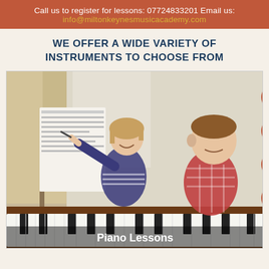Call us to register for lessons: 07724833201 Email us: info@miltonkeynesmusicacademy.com
WE OFFER A WIDE VARIETY OF INSTRUMENTS TO CHOOSE FROM
[Figure (photo): A music teacher pointing at sheet music on a piano, sitting next to a young boy who is about to play. The piano is a wooden upright. There is a caption overlay reading 'Piano Lessons'.]
Piano Lessons